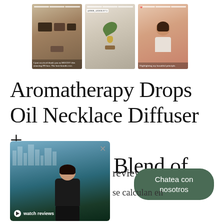[Figure (screenshot): Three social media story/post screenshots showing product unboxing, jewelry necklace diffuser, and a woman posing]
Aromatherapy Drops Oil Necklace Diffuser + Oils Blend of Your
[Figure (screenshot): Video overlay showing woman meditating outdoors with city skyline, with watch reviews button and X close button]
reviews
se calculan en
pagos.
Chatea con nosotros